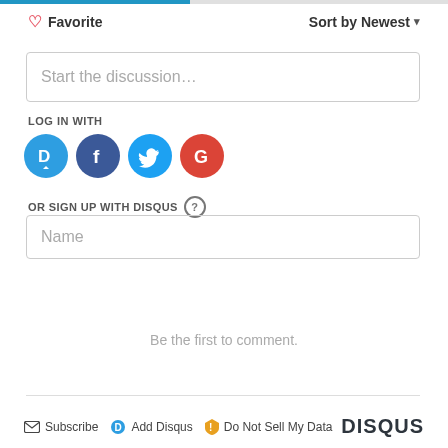[Figure (screenshot): Disqus comment widget UI with progress bar, favorite button, sort dropdown, discussion text field, social login icons (Disqus, Facebook, Twitter, Google), sign up with Disqus section, Name input field, 'Be the first to comment.' placeholder text, and footer with Subscribe, Add Disqus, Do Not Sell My Data links and DISQUS logo]
♡ Favorite
Sort by Newest ▾
Start the discussion…
LOG IN WITH
OR SIGN UP WITH DISQUS ?
Name
Be the first to comment.
Subscribe  Add Disqus  Do Not Sell My Data  DISQUS